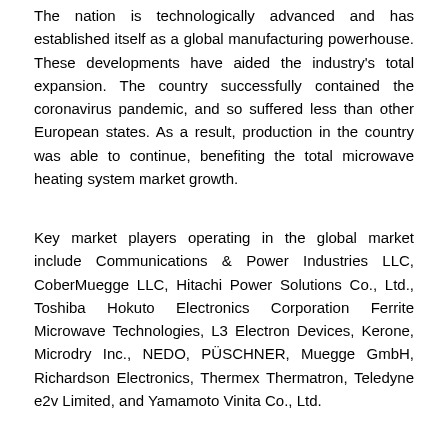The nation is technologically advanced and has established itself as a global manufacturing powerhouse. These developments have aided the industry's total expansion. The country successfully contained the coronavirus pandemic, and so suffered less than other European states. As a result, production in the country was able to continue, benefiting the total microwave heating system market growth.
Key market players operating in the global market include Communications & Power Industries LLC, CoberMuegge LLC, Hitachi Power Solutions Co., Ltd., Toshiba Hokuto Electronics Corporation Ferrite Microwave Technologies, L3 Electron Devices, Kerone, Microdry Inc., NEDO, PÜSCHNER, Muegge GmbH, Richardson Electronics, Thermex Thermatron, Teledyne e2v Limited, and Yamamoto Vinita Co., Ltd.
Polaris Market Research has segmented the industrial